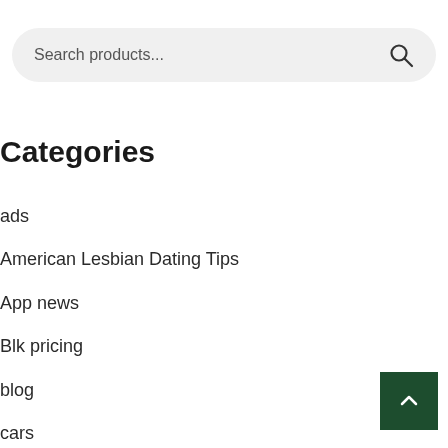[Figure (screenshot): Search bar with rounded rectangle background and magnifying glass icon on the right]
Categories
ads
American Lesbian Dating Tips
App news
Blk pricing
blog
cars
crypto
Crypto News